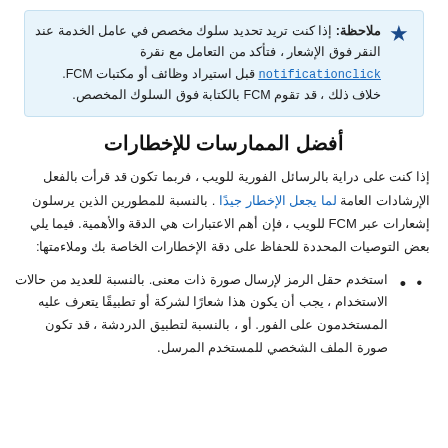ملاحظة: إذا كنت تريد تحديد سلوك مخصص في عامل الخدمة عند النقر فوق الإشعار ، فتأكد من التعامل مع نقرة notificationclick قبل استيراد وظائف أو مكتبات FCM. خلاف ذلك ، قد تقوم FCM بالكتابة فوق السلوك المخصص.
أفضل الممارسات للإخطارات
إذا كنت على دراية بالرسائل الفورية للويب ، فربما تكون قد قرأت بالفعل الإرشادات العامة لما يجعل الإخطار جيدًا . بالنسبة للمطورين الذين يرسلون إشعارات عبر FCM للويب ، فإن أهم الاعتبارات هي الدقة والأهمية. فيما يلي بعض التوصيات المحددة للحفاظ على دقة الإخطارات الخاصة بك وملاءمتها:
استخدم حقل الرمز لإرسال صورة ذات معنى. بالنسبة للعديد من حالات الاستخدام ، يجب أن يكون هذا شعارًا لشركة أو تطبيقًا يتعرف عليه المستخدمون على الفور. أو ، بالنسبة لتطبيق الدردشة ، قد تكون صورة الملف الشخصي للمستخدم المرسل.